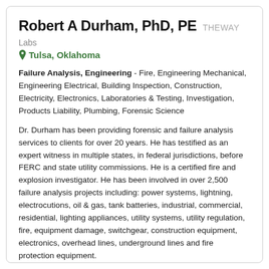Robert A Durham, PhD, PE THEWAY
Labs
Tulsa, Oklahoma
Failure Analysis, Engineering - Fire, Engineering Mechanical, Engineering Electrical, Building Inspection, Construction, Electricity, Electronics, Laboratories & Testing, Investigation, Products Liability, Plumbing, Forensic Science
Dr. Durham has been providing forensic and failure analysis services to clients for over 20 years. He has testified as an expert witness in multiple states, in federal jurisdictions, before FERC and state utility commissions. He is a certified fire and explosion investigator. He has been involved in over 2,500 failure analysis projects including: power systems, lightning, electrocutions, oil & gas, tank batteries, industrial, commercial, residential, lighting appliances, utility systems, utility regulation, fire, equipment damage, switchgear, construction equipment, electronics, overhead lines, underground lines and fire protection equipment.